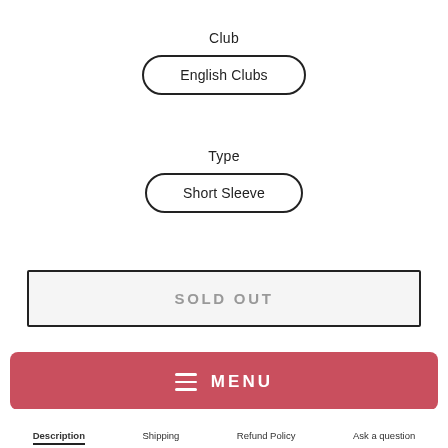Club
English Clubs
Type
Short Sleeve
SOLD OUT
MENU
Description  Shipping  Refund Policy  Ask a question